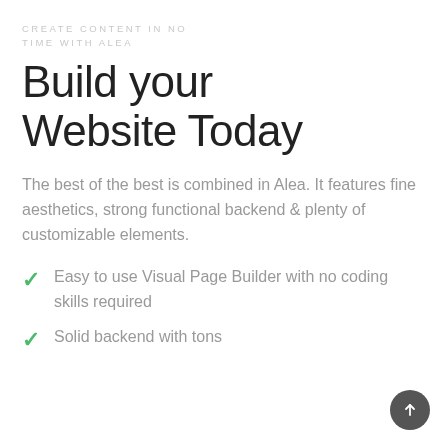CREATE CONTENT IN NO TIME WITH ALEA
Build your Website Today
The best of the best is combined in Alea. It features fine aesthetics, strong functional backend & plenty of customizable elements.
Easy to use Visual Page Builder with no coding skills required
Solid backend with tons